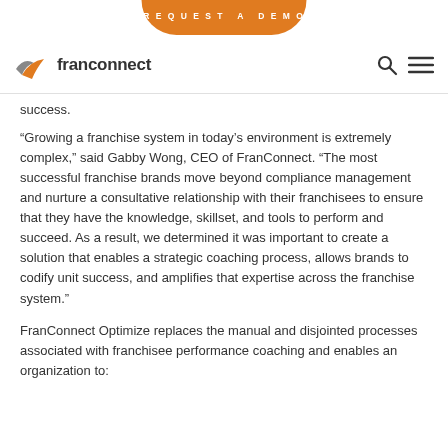REQUEST A DEMO
[Figure (logo): FranConnect logo with orange and grey arrow/chevron icon followed by the text 'franconnect' in dark grey]
success.
“Growing a franchise system in today’s environment is extremely complex,” said Gabby Wong, CEO of FranConnect. “The most successful franchise brands move beyond compliance management and nurture a consultative relationship with their franchisees to ensure that they have the knowledge, skillset, and tools to perform and succeed. As a result, we determined it was important to create a solution that enables a strategic coaching process, allows brands to codify unit success, and amplifies that expertise across the franchise system.”
FranConnect Optimize replaces the manual and disjointed processes associated with franchisee performance coaching and enables an organization to: